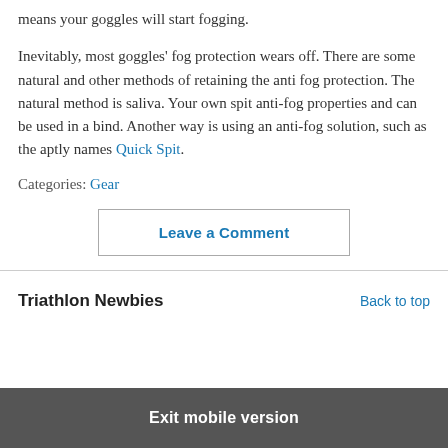means your goggles will start fogging.
Inevitably, most goggles' fog protection wears off. There are some natural and other methods of retaining the anti fog protection. The natural method is saliva. Your own spit anti-fog properties and can be used in a bind. Another way is using an anti-fog solution, such as the aptly names Quick Spit.
Categories: Gear
Leave a Comment
Triathlon Newbies
Back to top
Exit mobile version